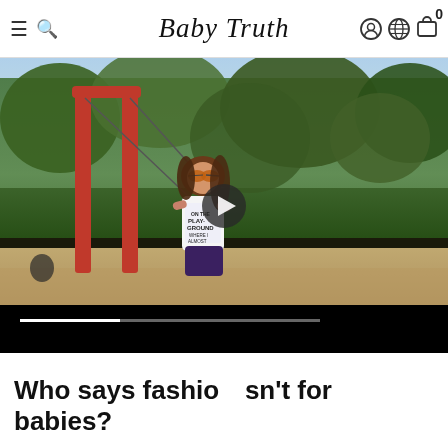Baby Truth
[Figure (photo): A young girl with long hair wearing orange-tinted sunglasses and a white graphic t-shirt sitting on a swing at a playground with red poles and trees in the background. A video play button is overlaid in the center.]
Who says fashion isn't for babies?